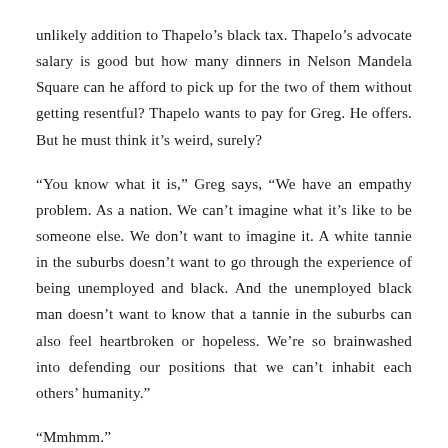unlikely addition to Thapelo's black tax. Thapelo's advocate salary is good but how many dinners in Nelson Mandela Square can he afford to pick up for the two of them without getting resentful? Thapelo wants to pay for Greg. He offers. But he must think it's weird, surely?
“You know what it is,” Greg says, “We have an empathy problem. As a nation. We can’t imagine what it’s like to be someone else. We don’t want to imagine it. A white tannie in the suburbs doesn’t want to go through the experience of being unemployed and black. And the unemployed black man doesn’t want to know that a tannie in the suburbs can also feel heartbroken or hopeless. We’re so brainwashed into defending our positions that we can’t inhabit each others’ humanity.”
“Mmhmm.”